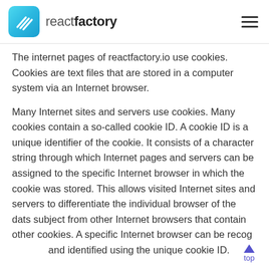reactfactory
The internet pages of reactfactory.io use cookies. Cookies are text files that are stored in a computer system via an Internet browser.
Many Internet sites and servers use cookies. Many cookies contain a so-called cookie ID. A cookie ID is a unique identifier of the cookie. It consists of a character string through which Internet pages and servers can be assigned to the specific Internet browser in which the cookie was stored. This allows visited Internet sites and servers to differentiate the individual browser of the dats subject from other Internet browsers that contain other cookies. A specific Internet browser can be recog and identified using the unique cookie ID.
Through the use of cookies, reactfactory.io can provide